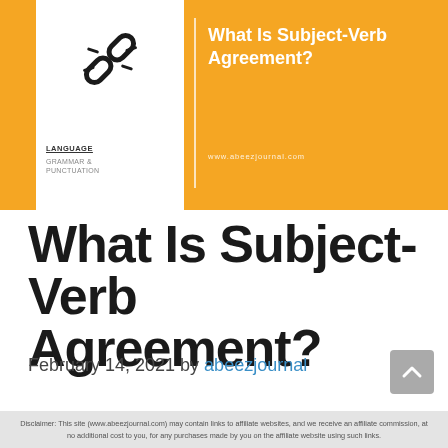[Figure (illustration): Orange and white hero banner for abeezjournal.com with a broken chain link logo, vertical divider, and bold white title 'What Is Subject-Verb Agreement?' with category labels 'LANGUAGE GRAMMAR & PUNCTUATION' and site URL.]
What Is Subject-Verb Agreement?
February 14, 2021 by abeezjournal
Disclaimer: This site (www.abeezjournal.com) may contain links to affiliate websites, and we receive an affiliate commission, at no additional cost to you, for any purchases made by you on the affiliate website using such links.